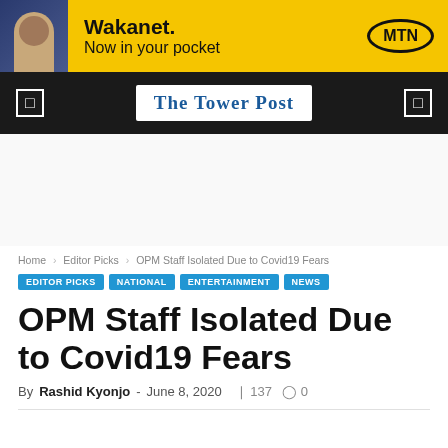[Figure (other): MTN Wakanet advertisement banner with yellow background. Text reads 'Wakanet. Now in your pocket' with MTN oval logo on the right.]
The Tower Post
Home / Editor Picks / OPM Staff Isolated Due to Covid19 Fears
EDITOR PICKS
NATIONAL
ENTERTAINMENT
NEWS
OPM Staff Isolated Due to Covid19 Fears
By Rashid Kyonjo - June 8, 2020  137  0